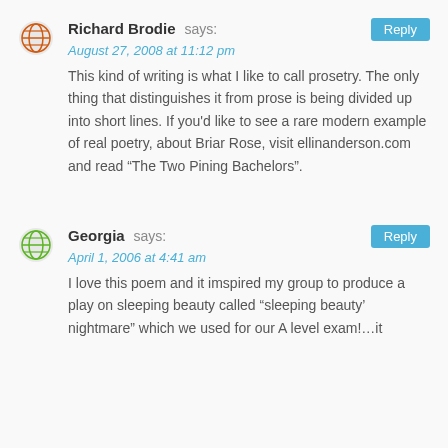Richard Brodie says: August 27, 2008 at 11:12 pm — This kind of writing is what I like to call prosetry. The only thing that distinguishes it from prose is being divided up into short lines. If you'd like to see a rare modern example of real poetry, about Briar Rose, visit ellinanderson.com and read “The Two Pining Bachelors”.
Georgia says: April 1, 2006 at 4:41 am — I love this poem and it imspired my group to produce a play on sleeping beauty called “sleeping beauty’ nightmare” which we used for our A level exam!…it